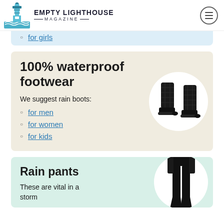EMPTY LIGHTHOUSE MAGAZINE
for girls
100% waterproof footwear
We suggest rain boots:
for men
for women
for kids
[Figure (photo): Black quilted rain boots on white circular background]
Rain pants
These are vital in a storm
[Figure (photo): Person wearing black rain pants on white circular background]